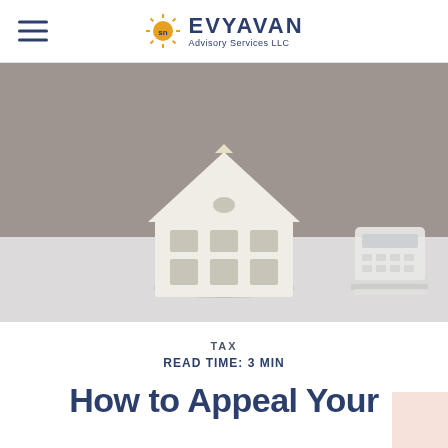EVYAVAN Advisory Services LLC
[Figure (photo): A small white model house on a white surface with a calculator and papers blurred in the background, on a gray-toned background]
TAX
READ TIME: 3 MIN
How to Appeal Your Property Tax